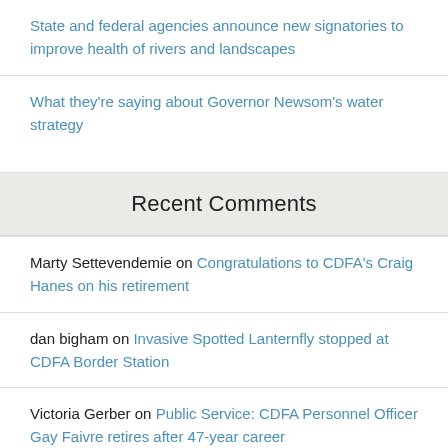State and federal agencies announce new signatories to improve health of rivers and landscapes
What they're saying about Governor Newsom's water strategy
Recent Comments
Marty Settevendemie on Congratulations to CDFA's Craig Hanes on his retirement
dan bigham on Invasive Spotted Lanternfly stopped at CDFA Border Station
Victoria Gerber on Public Service: CDFA Personnel Officer Gay Faivre retires after 47-year career
Legislative Bulletin July 11, 2022 – California Cattlemen's Association on Conservation, working